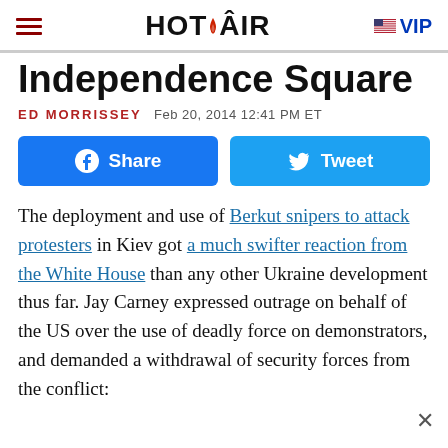HOT AIR | VIP
Independence Square
ED MORRISSEY   Feb 20, 2014 12:41 PM ET
[Figure (other): Facebook Share and Twitter Tweet buttons]
The deployment and use of Berkut snipers to attack protesters in Kiev got a much swifter reaction from the White House than any other Ukraine development thus far. Jay Carney expressed outrage on behalf of the US over the use of deadly force on demonstrators, and demanded a withdrawal of security forces from the conflict: